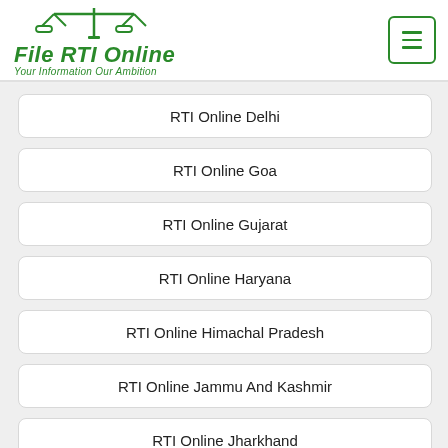File RTI Online – Your Information Our Ambition
RTI Online Delhi
RTI Online Goa
RTI Online Gujarat
RTI Online Haryana
RTI Online Himachal Pradesh
RTI Online Jammu And Kashmir
RTI Online Jharkhand
RTI Online Karnataka